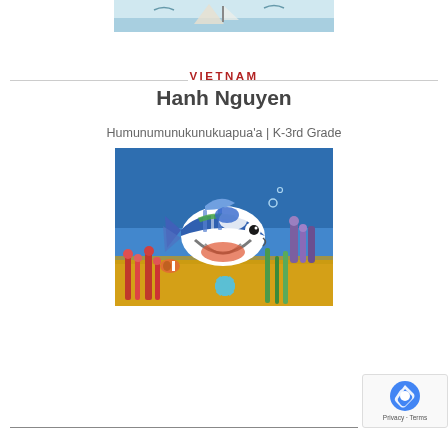[Figure (illustration): Partial view of a child's artwork showing a sailboat or bird on water, cropped at top of page]
VIETNAM
Hanh Nguyen
Humunumunukunukuapua'a | K-3rd Grade
[Figure (illustration): Child's artwork depicting an underwater scene with a colorful tropical fish (Humuhumu) above sandy floor, surrounded by coral and sea plants on a blue background]
[Figure (other): reCAPTCHA privacy badge in bottom right corner showing Privacy · Terms text]